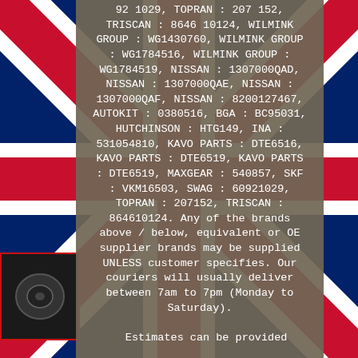[Figure (photo): Union Jack flag background behind product listing overlay]
92 1029, TOPRAN : 207 152, TRISCAN : 8646 10124, WILMINK GROUP : WG1430760, WILMINK GROUP : WG1784516, WILMINK GROUP : WG1784519, NISSAN : 1307000QAD, NISSAN : 1307000QAE, NISSAN : 1307000QAF, NISSAN : 8200127467, AUTOKIT : 0380516, BGA : BC95031, HUTCHINSON : HTG149, INA : 531054810, KAVO PARTS : DTE6516, KAVO PARTS : DTE6519, KAVO PARTS : DTE6519, MAXGEAR : 540857, SKF : VKM16503, SWAG : 60921029, TOPRAN : 207152, TRISCAN : 864610124. Any of the brands above / below, equivalent or OE supplier brands may be supplied UNLESS customer specifies. Our couriers will usually deliver between 7am to 7pm (Monday to Saturday).

Estimates can be provided
[Figure (photo): Small product photo on lower left, appears to be an automotive part on dark background]